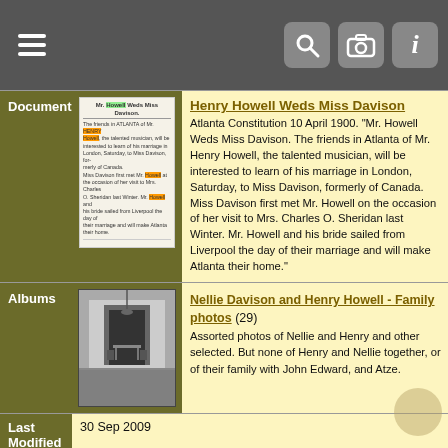Navigation bar with hamburger menu, search, camera, and info icons
Documents
[Figure (photo): Scanned newspaper clipping: 'Mr. Howell Weds Miss Davison' with highlighted text in green and orange]
Henry Howell Weds Miss Davison
Atlanta Constitution 10 April 1900. "Mr. Howell Weds Miss Davison. The friends in Atlanta of Mr. Henry Howell, the talented musician, will be interested to learn of his marriage in London, Saturday, to Miss Davison, formerly of Canada. Miss Davison first met Mr. Howell on the occasion of her visit to Mrs. Charles O. Sheridan last Winter. Mr. Howell and his bride sailed from Liverpool the day of their marriage and will make Atlanta their home."
Albums
[Figure (photo): Black and white photo of an interior room with a hanging lamp and furniture]
Nellie Davison and Henry Howell - Family photos (29)
Assorted photos of Nellie and Henry and other selected. But none of Henry and Nellie together, or of their family with John Edward, and Atze.
Last Modified	30 Sep 2009
Family ID	F39	Group Sheet | Family Chart